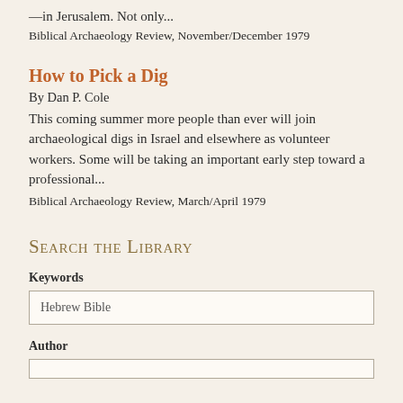—in Jerusalem. Not only...
Biblical Archaeology Review, November/December 1979
How to Pick a Dig
By Dan P. Cole
This coming summer more people than ever will join archaeological digs in Israel and elsewhere as volunteer workers. Some will be taking an important early step toward a professional...
Biblical Archaeology Review, March/April 1979
Search the Library
Keywords
Hebrew Bible
Author